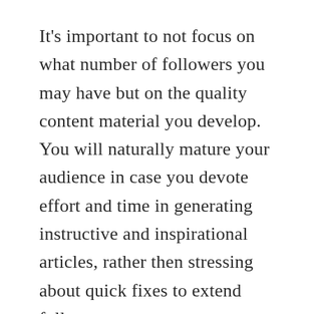It's important to not focus on what number of followers you may have but on the quality content material you develop. You will naturally mature your audience in case you devote effort and time in generating instructive and inspirational articles, rather then stressing about quick fixes to extend followers.
You should also take into